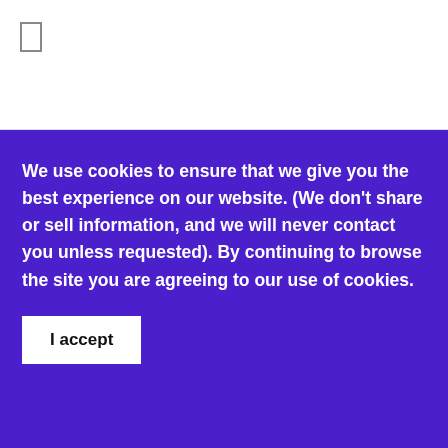[Figure (other): White top navigation bar with a hamburger menu icon (rectangle outline) in the top left corner]
We use cookies to ensure that we give you the best experience on our website. (We don't share or sell information, and we will never contact you unless requested). By continuing to browse the site you are agreeing to our use of cookies.
I accept